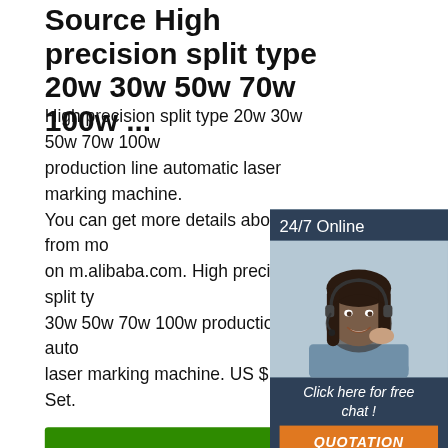Source High precision split type 20w 30w 50w 70w 100w ...
High precision split type 20w 30w 50w 70w 100w production line automatic laser marking machine. You can get more details about from mobile site on m.alibaba.com. High precision split type 30w 50w 70w 100w production line auto laser marking machine. US $ 5,000 Set.
[Figure (photo): Customer service representative with headset, dark hair, smiling, blue shirt. Dark blue panel with '24/7 Online' text at top, 'Click here for free chat!' text and orange 'QUOTATION' button at bottom.]
[Figure (photo): Industrial laser marking machine production line with pipes and mechanical components in a factory setting. Red laser beam visible.]